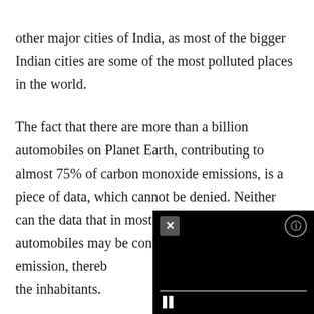other major cities of India, as most of the bigger Indian cities are some of the most polluted places in the world.
The fact that there are more than a billion automobiles on Planet Earth, contributing to almost 75% of carbon monoxide emissions, is a piece of data, which cannot be denied. Neither can the data that in most congested cities, automobiles may be contributing to over half the emission, thereby... the inhabitants.
[Figure (other): A video player overlay in the bottom-right corner with a black background, close (X) button, info button, progress bar, and pause (||) control.]